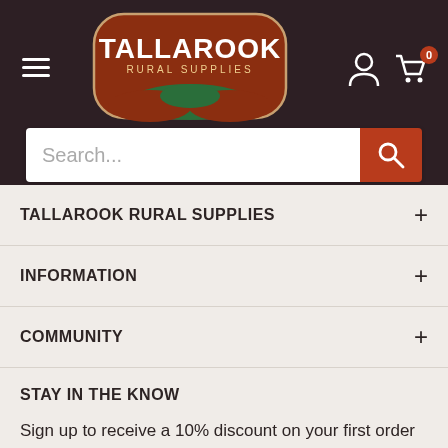[Figure (logo): Tallarook Rural Supplies logo — oval shape with red/brown background, white text reading TALLAROOK RURAL SUPPLIES, green leaf/land graphic at bottom]
TALLAROOK RURAL SUPPLIES
INFORMATION
COMMUNITY
STAY IN THE KNOW
Sign up to receive a 10% discount on your first order as well as news and updates from Tallarook Rural Supplies.